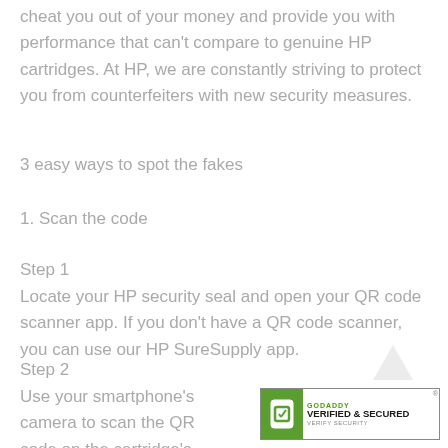cheat you out of your money and provide you with performance that can't compare to genuine HP cartridges. At HP, we are constantly striving to protect you from counterfeiters with new security measures.
3 easy ways to spot the fakes
1. Scan the code
Step 1
Locate your HP security seal and open your QR code scanner app. If you don't have a QR code scanner, you can use our HP SureSupply app.
Step 2
Use your smartphone's camera to scan the QR code on the cartridge's security seal. After your scanner processes
[Figure (logo): GoDaddy Verified & Secured badge in bottom right corner]